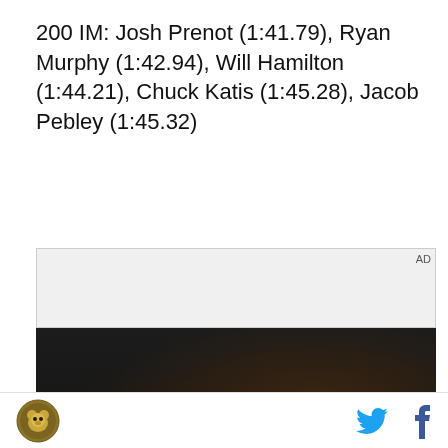200 IM: Josh Prenot (1:41.79), Ryan Murphy (1:42.94), Will Hamilton (1:44.21), Chuck Katis (1:45.28), Jacob Pebley (1:45.32)
[Figure (screenshot): Advertisement area with gray background labeled AD, followed by a video player showing a dark scene of a person in a car holding a Samsung foldable phone with text overlay 'Unfold your world' and a play button.]